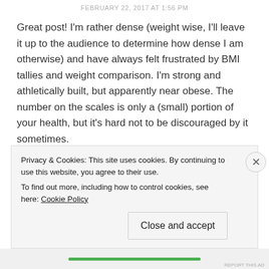FEBRUARY 22, 2017 AT 1:56 PM
Great post! I'm rather dense (weight wise, I'll leave it up to the audience to determine how dense I am otherwise) and have always felt frustrated by BMI tallies and weight comparison. I'm strong and athletically built, but apparently near obese. The number on the scales is only a (small) portion of your health, but it's hard not to be discouraged by it sometimes.
Absolutely love this post. My goal is to actually
Privacy & Cookies: This site uses cookies. By continuing to use this website, you agree to their use.
To find out more, including how to control cookies, see here: Cookie Policy
Close and accept